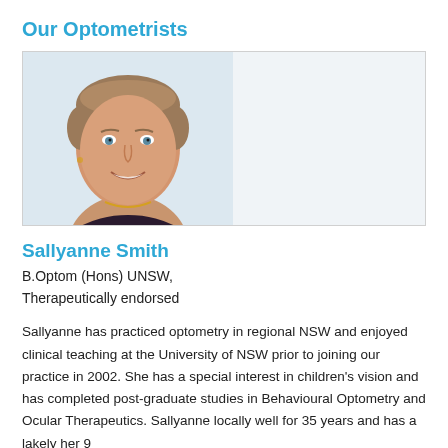Our Optometrists
[Figure (photo): Professional headshot photo of Sallyanne Smith, a woman with short light brown hair, smiling, wearing a dark floral top and gold necklace, against a light blue/grey background.]
Sallyanne Smith
B.Optom (Hons) UNSW,
Therapeutically endorsed
Sallyanne has practiced optometry in regional NSW and enjoyed clinical teaching at the University of NSW prior to joining our practice in 2002. She has a special interest in children's vision and has completed post-graduate studies in Behavioural Optometry and Ocular Therapeutics. Sallyanne locally well for 35 years and has a lakely her 9